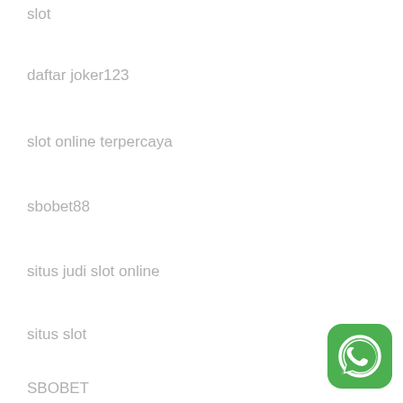slot
daftar joker123
slot online terpercaya
sbobet88
situs judi slot online
situs slot
SBOBET
[Figure (logo): WhatsApp logo — green rounded square with white phone handset icon]